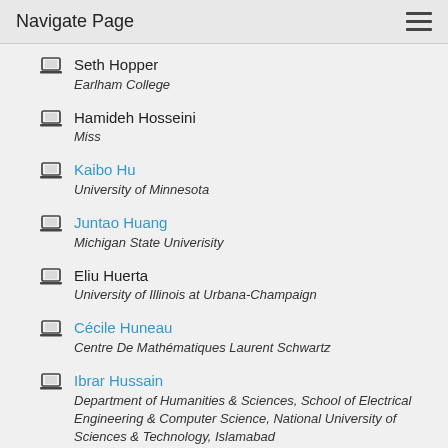Navigate Page
Seth Hopper
Earlham College
Hamideh Hosseini
Miss
Kaibo Hu
University of Minnesota
Juntao Huang
Michigan State Univerisity
Eliu Huerta
University of Illinois at Urbana-Champaign
Cécile Huneau
Centre De Mathématiques Laurent Schwartz
Ibrar Hussain
Department of Humanities & Sciences, School of Electrical Engineering & Computer Science, National University of Sciences & Technology, Islamabad
Bryen Irving
Stanford University